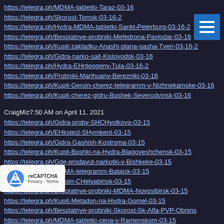https://telegra.ph/MDMA-tabletki-Taraz-03-16
https://telegra.ph/Skorost-Tomsk-03-16-2
https://telegra.ph/Hydra-MDMA-tabletki-Sankt-Peterburg-03-16-2
https://telegra.ph/Besplatnye-probniki-Mefedrona-Pavlodar-03-16
https://telegra.ph/Kupit-zakladku-Anashi-plana-gasha-Tveri-03-16-2
https://telegra.ph/Gidra-narko-sajt-Kislovodsk-03-16
https://telegra.ph/Hydra-EHnteogeny-Tula-03-16-2
https://telegra.ph/Probniki-Marihuany-Berezniki-03-16
https://telegra.ph/Kupit-Geroin-cherez-telegramm-v-Nizhnekamske-03-16
https://telegra.ph/Kupit-cherez-gidru-Boshek-Severodvinsk-03-16
CraigMiz7:50 AM on April 11, 2021
https://telegra.ph/Gidra-proby-SHCHyolkovo-03-15
https://telegra.ph/EHkstezi-SHymkent-03-15
https://telegra.ph/Gidra-Gashish-Kostroma-03-15
https://telegra.ph/Kupit-Boshki-na-Hydra-Blagoveshchensk-03-15
https://telegra.ph/Gde-prodayut-narkotki-v-Bishkeke-03-15
https://telegra.ph/MDMA-telegramm-Batajsk-03-15
https://telegra.ph/Geroin-CHelyabinsk-03-15
https://telegra.ph/Besplatnye-probniki-MDMA-Novosibirsk-03-15
https://telegra.ph/Kupit-Metadon-na-Hydra-Gomel-03-15
https://telegra.ph/Besplatnye-probniki-Skorost-Sk-Alfa-PVP-Obnins
https://telegra.ph/MDMA-tabletki-cena-v-Ramenskom-03-15